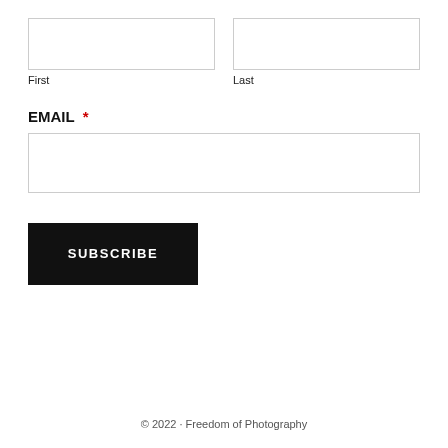First
Last
EMAIL *
SUBSCRIBE
© 2022 · Freedom of Photography